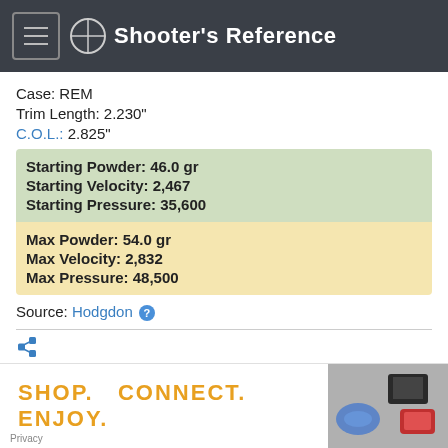Shooter's Reference
Case: REM
Trim Length: 2.230"
C.O.L.: 2.825"
| Starting Powder: 46.0 gr |
| Starting Velocity: 2,467 |
| Starting Pressure: 35,600 |
| Max Powder: 54.0 gr |
| Max Velocity: 2,832 |
| Max Pressure: 48,500 |
Source: Hodgdon
GR.:  175 gr
[Figure (infographic): Advertisement banner: SHOP. CONNECT. ENJOY. with product images on the right side.]